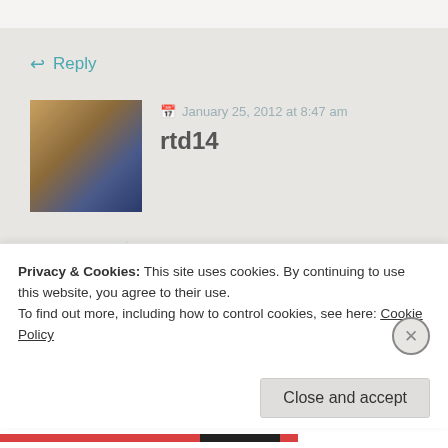↩ Reply
January 25, 2012 at 8:47 am
rtd14
Great post! You had me laughing, because I can completely relate.
Privacy & Cookies: This site uses cookies. By continuing to use this website, you agree to their use.
To find out more, including how to control cookies, see here: Cookie Policy
Close and accept